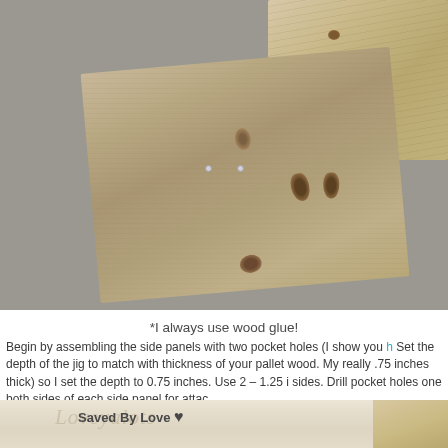[Figure (photo): Overhead view of weathered pallet wood boards on a grey concrete surface. A large rectangular piece of pallet wood with pocket holes drilled in its center is visible, along with another piece in the upper right corner. Pocket hole screws are visible in the holes.]
*I always use wood glue!
Begin by assembling the side panels with two pocket holes (I show you h... Set the depth of the jig to match with thickness of your pallet wood. My really .75 inches thick) so I set the depth to 0.75 inches. Use 2 – 1.25 i sides. Drill pocket holes one both sides of each side panel for attac
[Figure (photo): Bottom portion of a photo showing pallet wood on a light surface. A 'Saved By Love' watermark with a heart icon is overlaid on the image.]